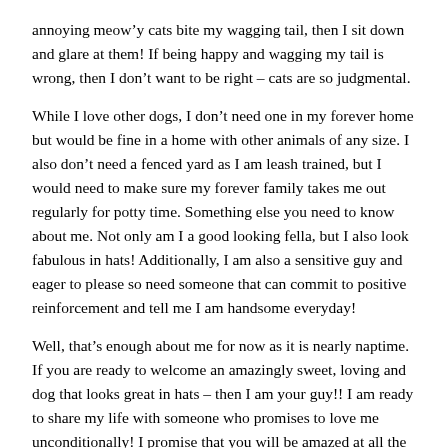annoying meow’y cats bite my wagging tail, then I sit down and glare at them! If being happy and wagging my tail is wrong, then I don’t want to be right – cats are so judgmental.
While I love other dogs, I don’t need one in my forever home but would be fine in a home with other animals of any size. I also don’t need a fenced yard as I am leash trained, but I would need to make sure my forever family takes me out regularly for potty time. Something else you need to know about me. Not only am I a good looking fella, but I also look fabulous in hats! Additionally, I am also a sensitive guy and eager to please so need someone that can commit to positive reinforcement and tell me I am handsome everyday!
Well, that’s enough about me for now as it is nearly naptime. If you are ready to welcome an amazingly sweet, loving and dog that looks great in hats – then I am your guy!! I am ready to share my life with someone who promises to love me unconditionally! I promise that you will be amazed at all the love I have to give and I can’t wait to meet you! Love, Jimmy
Please note that some of our dogs are obtained from shelters,